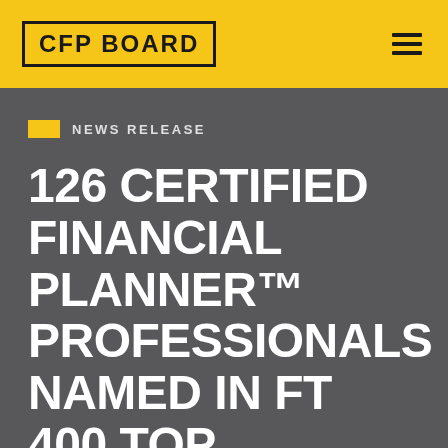CFP BOARD
NEWS RELEASE
126 CERTIFIED FINANCIAL PLANNER™ PROFESSIONALS NAMED IN FT 400 TOP FINANCIAL ADVISORS